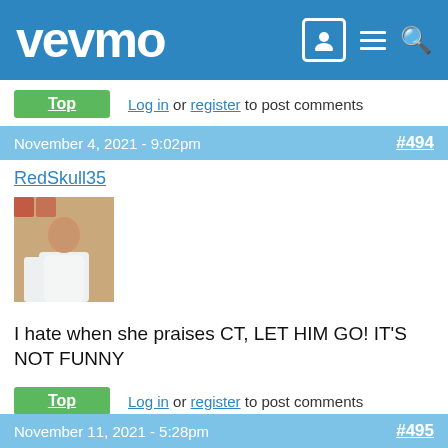vevmo
Top   Log in or register to post comments
November 4, 2021 - 9:02pm   #494
RedSkull35
[Figure (photo): User avatar photo of a man in a white shirt]
I hate when she praises CT, LET HIM GO! IT'S NOT FUNNY
Top   Log in or register to post comments
November 11, 2021 - 5:28pm   #495